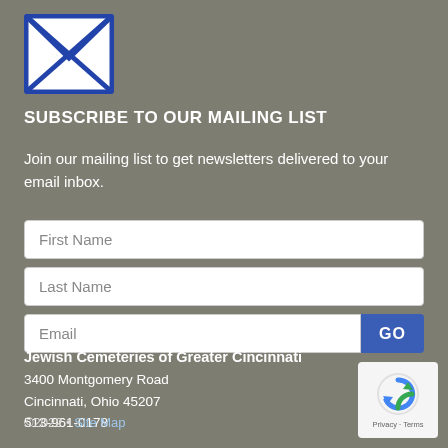[Figure (illustration): Email envelope icon — white envelope with blue border and blue X cross diagonal lines inside, on gray background]
SUBSCRIBE TO OUR MAILING LIST
Join our mailing list to get newsletters delivered to your email inbox.
First Name [input field]
Last Name [input field]
Email [input field] GO [button]
Jewish Cemeteries of Greater Cincinnati
3400 Montgomery Road
Cincinnati, Ohio 45207
513-961-0178
©2022 • Site Map
[Figure (logo): reCAPTCHA badge with circular arrow icon, Privacy and Terms links]